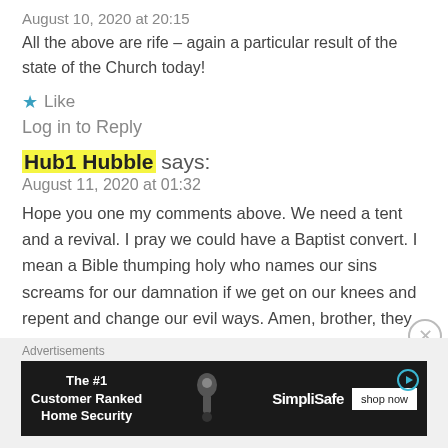August 10, 2020 at 20:15
All the above are rife – again a particular result of the state of the Church today!
★ Like
Log in to Reply
Hub1 Hubble says:
August 11, 2020 at 01:32
Hope you one my comments above. We need a tent and a revival. I pray we could have a Baptist convert. I mean a Bible thumping holy who names our sins screams for our damnation if we get on our knees and repent and change our evil ways. Amen, brother, they shout back at the
Advertisements
[Figure (other): SimpliSafe advertisement banner: 'The #1 Customer Ranked Home Security' with shop now button]